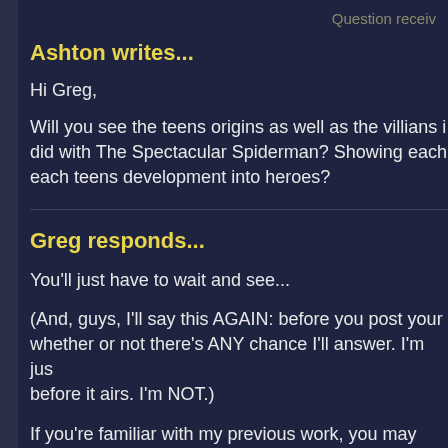Question receiv
Ashton writes...
Hi Greg,
Will you see the teens origins as well as the villians i did with The Spectacular Spiderman? Showing each each teens development into heroes?
Greg responds...
You'll just have to wait and see...
(And, guys, I'll say this AGAIN: before you post your whether or not there's ANY chance I'll answer. I'm jus before it airs. I'm NOT.)
If you're familiar with my previous work, you may hav you can expect. But I'm not going to give details or sp we're doing X or Y or Z or Q.